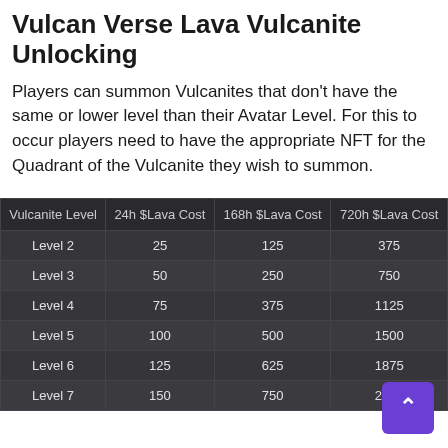Vulcan Verse Lava Vulcanite Unlocking
Players can summon Vulcanites that don't have the same or lower level than their Avatar Level. For this to occur players need to have the appropriate NFT for the Quadrant of the Vulcanite they wish to summon.
| Vulcanite Level | 24h $Lava Cost | 168h $Lava Cost | 720h $Lava Cost |
| --- | --- | --- | --- |
| Level 2 | 25 | 125 | 375 |
| Level 3 | 50 | 250 | 750 |
| Level 4 | 75 | 375 | 1125 |
| Level 5 | 100 | 500 | 1500 |
| Level 6 | 125 | 625 | 1875 |
| Level 7 | 150 | 750 | 2250 |